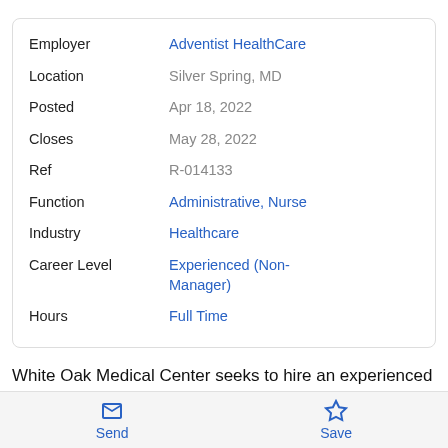| Field | Value |
| --- | --- |
| Employer | Adventist HealthCare |
| Location | Silver Spring, MD |
| Posted | Apr 18, 2022 |
| Closes | May 28, 2022 |
| Ref | R-014133 |
| Function | Administrative, Nurse |
| Industry | Healthcare |
| Career Level | Experienced (Non-Manager) |
| Hours | Full Time |
White Oak Medical Center seeks to hire an experienced Registered Nurse (RN) for our Float Pool, who will embrace our mission to extend God's care through the ministry of
Send  Save